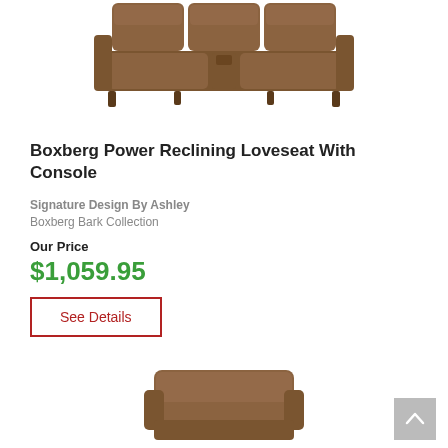[Figure (photo): Brown fabric power reclining loveseat with console, viewed from the front, centered on white background]
Boxberg Power Reclining Loveseat With Console
Signature Design By Ashley
Boxberg Bark Collection
Our Price
$1,059.95
See Details
[Figure (photo): Partial view of brown fabric recliner chair, bottom portion visible]